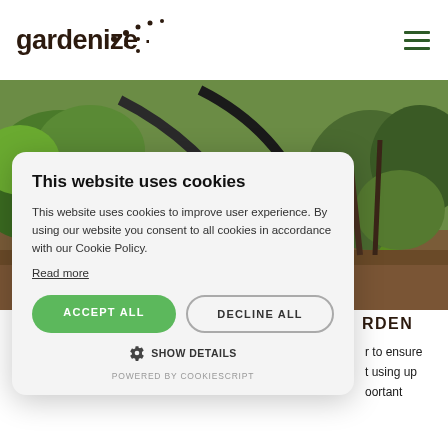gardenize
[Figure (screenshot): Gardenize website screenshot showing a garden hose/arch in a vegetable garden with green plants]
This website uses cookies
This website uses cookies to improve user experience. By using our website you consent to all cookies in accordance with our Cookie Policy.
Read more
ACCEPT ALL
DECLINE ALL
SHOW DETAILS
POWERED BY COOKIESCRIPT
RDEN
r to ensure t using up oortant